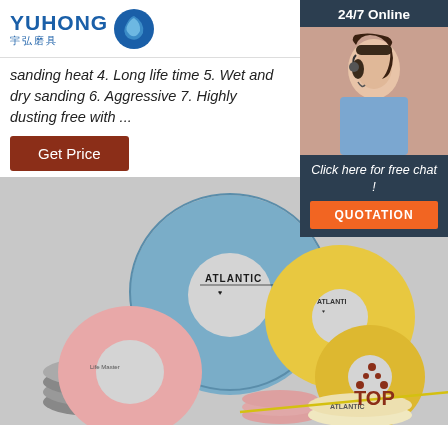YUHONG 宇弘磨具 — English navigation header
sanding heat 4. Long life time 5. Wet and dry sanding 6. Aggressive 7. Highly dusting free with ...
Get Price
24/7 Online
[Figure (photo): Customer service agent with headset, smiling]
Click here for free chat !
QUOTATION
[Figure (photo): Collection of grinding wheels and abrasive discs including blue, pink, yellow, and grey wheels with ATLANTIC branding]